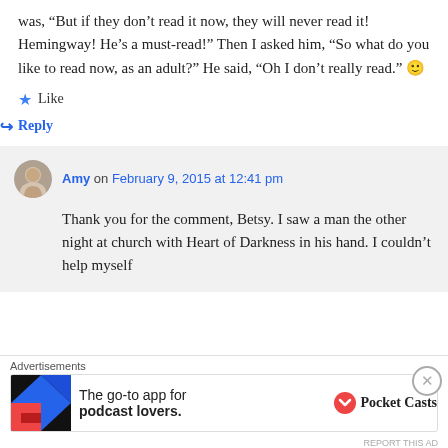was, “But if they don’t read it now, they will never read it! Hemingway! He’s a must-read!” Then I asked him, “So what do you like to read now, as an adult?” He said, “Oh I don’t really read.” 🙂
★ Like
↪ Reply
Amy on February 9, 2015 at 12:41 pm
Thank you for the comment, Betsy. I saw a man the other night at church with Heart of Darkness in his hand. I couldn’t help myself
Advertisements
The go-to app for podcast lovers. Pocket Casts